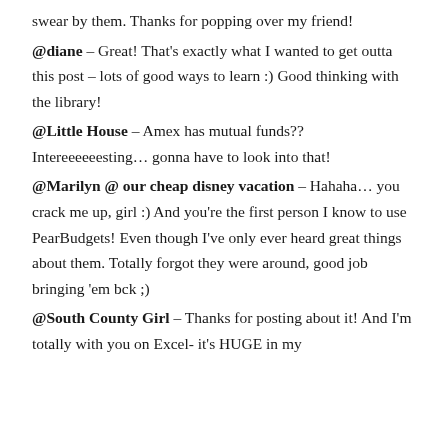swear by them. Thanks for popping over my friend!
@diane – Great! That's exactly what I wanted to get outta this post – lots of good ways to learn :) Good thinking with the library!
@Little House – Amex has mutual funds?? Intereeeeeesting… gonna have to look into that!
@Marilyn @ our cheap disney vacation – Hahaha… you crack me up, girl :) And you're the first person I know to use PearBudgets! Even though I've only ever heard great things about them. Totally forgot they were around, good job bringing 'em bck ;)
@South County Girl – Thanks for posting about it! And I'm totally with you on Excel- it's HUGE in my